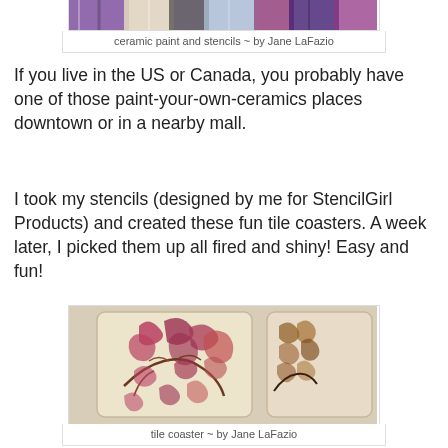[Figure (photo): Top portion of image showing ceramic paint and stencils work by Jane LaFazio — colorful patterned ceramic pieces visible]
ceramic paint and stencils ~ by Jane LaFazio
If you live in the US or Canada, you probably have one of those paint-your-own-ceramics places downtown or in a nearby mall.
I took my stencils (designed by me for StencilGirl Products) and created these fun tile coasters. A week later, I picked them up all fired and shiny! Easy and fun!
[Figure (photo): Photo of ceramic tile coasters with floral stencil patterns in red, brown and black on cream/beige background, by Jane LaFazio]
tile coaster ~ by Jane LaFazio